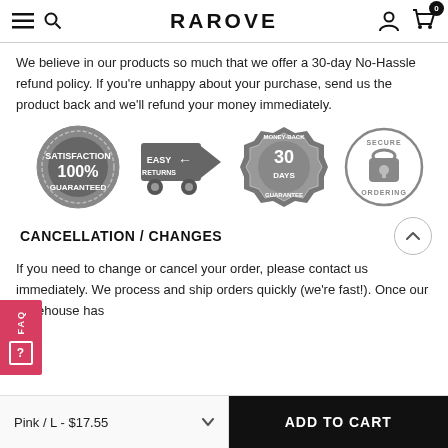RAROVE
We believe in our products so much that we offer a 30-day No-Hassle refund policy. If you're unhappy about your purchase, send us the product back and we'll refund your money immediately.
[Figure (illustration): Four trust badge icons: 100% Satisfaction Guaranteed, Easy Returns (truck), 30 Days Money-Back Guarantee, and Secure Ordering (padlock)]
CANCELLATION / CHANGES
If you need to change or cancel your order, please contact us immediately. We process and ship orders quickly (we're fast!). Once our warehouse has...